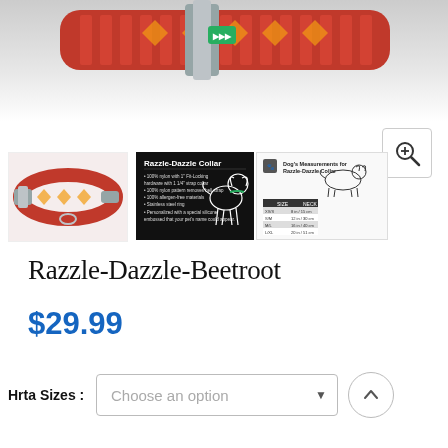[Figure (photo): Top portion of a Razzle-Dazzle red patterned dog collar with geometric print and grey metal hardware, shown against a light background.]
[Figure (photo): Small thumbnail of the Razzle-Dazzle Beetroot dog collar showing the full collar with ring and clasp.]
[Figure (photo): Black info card thumbnail reading 'Razzle-Dazzle Collar' with bullet points and a line drawing of a seated dog wearing the collar.]
[Figure (infographic): Dog measurement diagram showing a dog silhouette with 'Dog's Measurements for Razzle-Dazzle Collar' title and a size chart table.]
Razzle-Dazzle-Beetroot
$29.99
Hrta Sizes : Choose an option